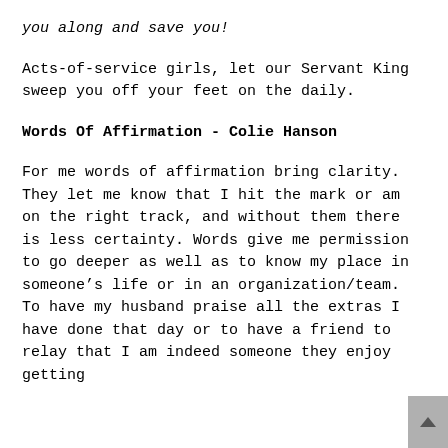you along and save you!
Acts-of-service girls, let our Servant King sweep you off your feet on the daily.
Words Of Affirmation - Colie Hanson
For me words of affirmation bring clarity. They let me know that I hit the mark or am on the right track, and without them there is less certainty. Words give me permission to go deeper as well as to know my place in someone’s life or in an organization/team.  To have my husband praise all the extras I have done that day or to have a friend to relay that I am indeed someone they enjoy getting